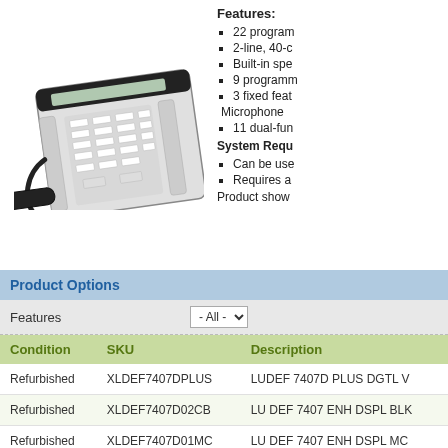[Figure (photo): Office desk phone with handset, large keypad with multiple programmable buttons and a 2-line display]
Features:
22 program
2-line, 40-c
Built-in spe
9 programm
3 fixed feat Microphone
11 dual-fun
System Requ
Can be use
Requires a
Product show
Product Options
Features
| Condition | SKU | Description |
| --- | --- | --- |
| Refurbished | XLDEF7407DPLUS | LUDEF 7407D PLUS DGTL V |
| Refurbished | XLDEF7407D02CB | LU DEF 7407 ENH DSPL BLK |
| Refurbished | XLDEF7407D01MC | LU DEF 7407 ENH DSPL MC |